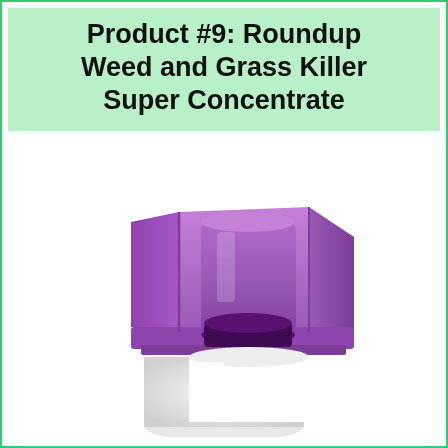Product #9: Roundup Weed and Grass Killer Super Concentrate
[Figure (photo): Close-up photo of the purple spray nozzle/cap of a Roundup Weed and Grass Killer Super Concentrate bottle, with the white bottle body visible below.]